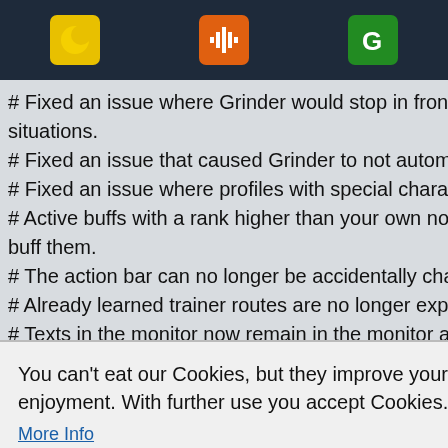[Navigation bar with three app icons: yellow crescent moon icon, orange audio waveform icon, green G icon]
# Fixed an issue where Grinder would stop in front of the ne... situations.
# Fixed an issue that caused Grinder to not automatically cr...
# Fixed an issue where profiles with special characters coul...
# Active buffs with a rank higher than your own no longer ca... buff them.
# The action bar can no longer be accidentally changed whi...
# Already learned trainer routes are no longer exported.
# Texts in the monitor now remain in the monitor and no long...
# A new macro has been added...
You can't eat our Cookies, but they improve your enjoyment. With further use you accept Cookies.
More Info
Got it!
Skinning.
ow be us...
problems.